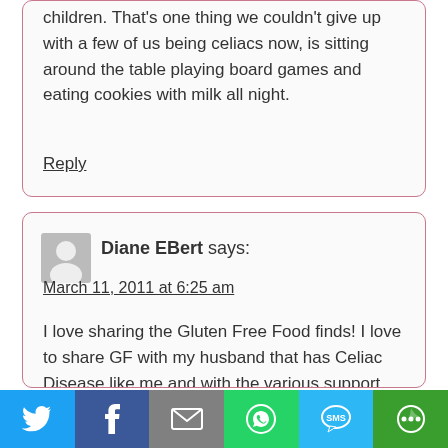children. That's one thing we couldn't give up with a few of us being celiacs now, is sitting around the table playing board games and eating cookies with milk all night.
Reply
Diane EBert says: March 11, 2011 at 6:25 am
I love sharing the Gluten Free Food finds! I love to share GF with my husband that has Celiac Disease like me and with the various support groups in the local and surrounding areas of where I live. Looking foward to winning! Diane
[Figure (infographic): Social sharing bar with icons for Twitter (blue), Facebook (dark blue), Email (gray), WhatsApp (green), SMS (light blue), and More (dark green)]